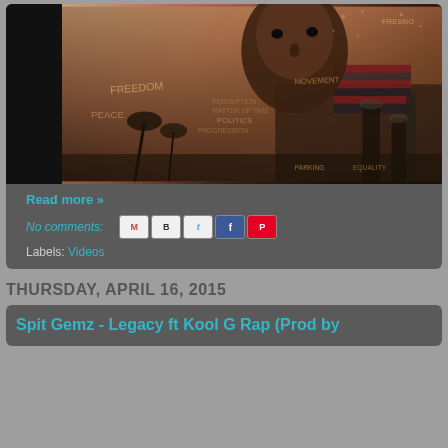[Figure (photo): Hip hop artist promotional photo with urban/political imagery collage background, words like FREEDOM, PEACE, POLITICS visible on clothing and background]
Read more »
No comments:
Labels: Videos
THURSDAY, APRIL 16, 2015
Spit Gemz - Legacy ft Kool G Rap (Prod by